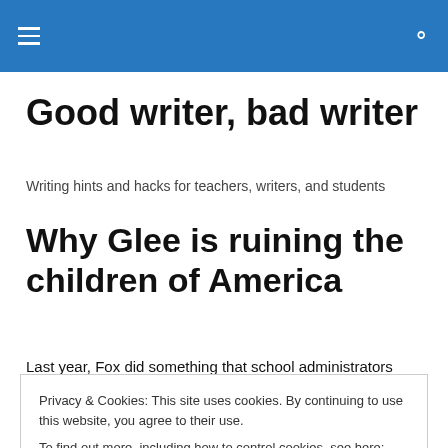Good writer, bad writer — Writing hints and hacks for teachers, writers, and students
Good writer, bad writer
Writing hints and hacks for teachers, writers, and students
Why Glee is ruining the children of America
Last year, Fox did something that school administrators
Privacy & Cookies: This site uses cookies. By continuing to use this website, you agree to their use.
To find out more, including how to control cookies, see here: Cookie Policy
Close and accept
nothing against Glee itself, and I love it's potential for